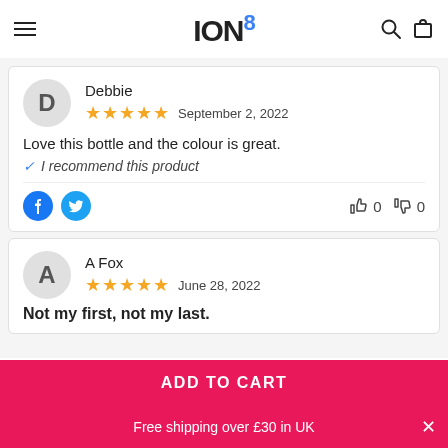ION8 — navigation header with hamburger menu, logo, search and cart icons
Debbie — September 2, 2022 — 5 stars — Love this bottle and the colour is great. I recommend this product. Thumbs up: 0, Thumbs down: 0
A Fox — June 28, 2022 — 5 stars — Not my first, not my last.
ADD TO CART
Free shipping over £30 in UK